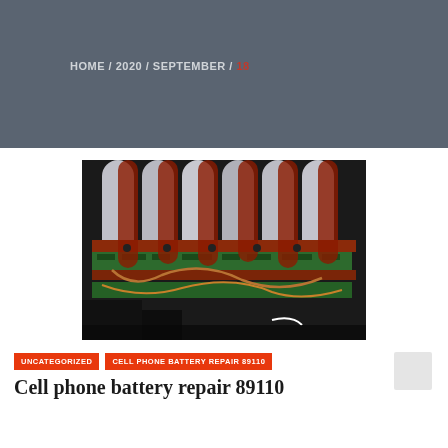HOME / 2020 / SEPTEMBER / 18
[Figure (photo): Multiple cylindrical battery cells with green circuit boards and copper wiring arranged in rows, photographed close-up showing internal battery pack components.]
UNCATEGORIZED
CELL PHONE BATTERY REPAIR 89110
Cell phone battery repair 89110